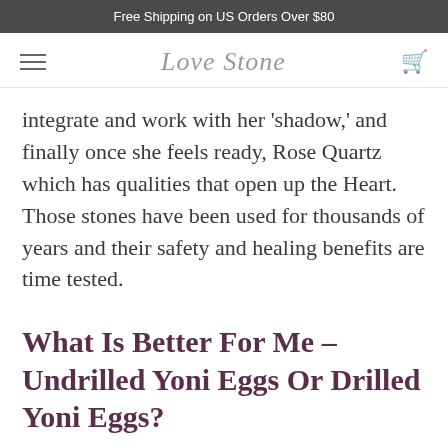Free Shipping on US Orders Over $80
integrate and work with her 'shadow,' and finally once she feels ready, Rose Quartz which has qualities that open up the Heart. Those stones have been used for thousands of years and their safety and healing benefits are time tested.
What Is Better For Me – Undrilled Yoni Eggs Or Drilled Yoni Eggs?